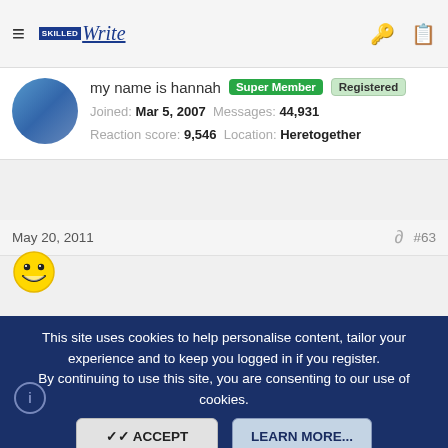≡ [logo] Write | [key icon] [clipboard icon]
my name is hannah | Super Member | Registered
Joined: Mar 5, 2007  Messages: 44,931
Reaction score: 9,546  Location: Heretogether
May 20, 2011  #63
[Figure (illustration): Smiley face emoji (grinning face with big eyes)]
zolambrosine
Banned
Joined: Dec 22, 2010  Messages: 361
Reaction score: 47  Location: New York, New York
This site uses cookies to help personalise content, tailor your experience and to keep you logged in if you register.
By continuing to use this site, you are consenting to our use of cookies.
[ACCEPT] [LEARN MORE...]